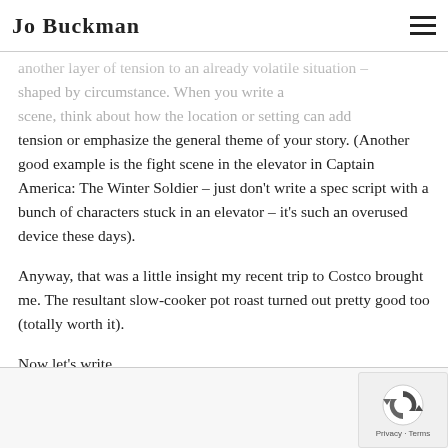Jo Buckman
another layer of tension to an already volatile situation – shaped by circumstance. When you write a scene, think about how the location or setting can add tension or emphasize the general theme of your story. (Another good example is the fight scene in the elevator in Captain America: The Winter Soldier – just don't write a spec script with a bunch of characters stuck in an elevator – it's such an overused device these days).
Anyway, that was a little insight my recent trip to Costco brought me. The resultant slow-cooker pot roast turned out pretty good too (totally worth it).
Now let's write.